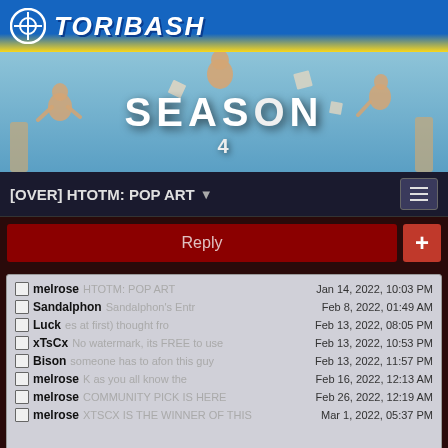TORIBASH
[Figure (illustration): Toribash Season 4 banner with ragdoll characters and the text SEASON 4]
[OVER] HTOTM: POP ART
Reply
| User | Preview | Date |
| --- | --- | --- |
| melrose | HTOTM: POP ART | Jan 14, 2022, 10:03 PM |
| Sandalphon | Sandalphon's Entr | Feb 8, 2022, 01:49 AM |
| Luck | es at first) thought fro | Feb 13, 2022, 08:05 PM |
| xTsCx | No watermark, its FREE to use | Feb 13, 2022, 10:53 PM |
| Bison | someone has to afon this guy | Feb 13, 2022, 11:57 PM |
| melrose | K as you all know the | Feb 16, 2022, 12:13 AM |
| melrose | COMMUNITY PICK IS HERE | Feb 26, 2022, 12:19 AM |
| melrose | XTSCX IS THE WINNER OF THIS | Mar 1, 2022, 05:37 PM |
Original Post
melrose